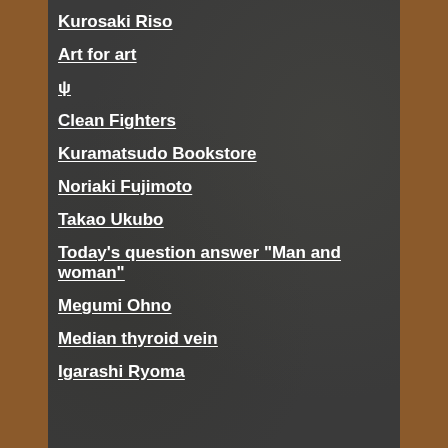Kurosaki Riso
Art for art
ψ
Clean Fighters
Kuramatsudo Bookstore
Noriaki Fujimoto
Takao Ukubo
Today's question answer "Man and woman"
Megumi Ohno
Median thyroid vein
Igarashi Ryoma